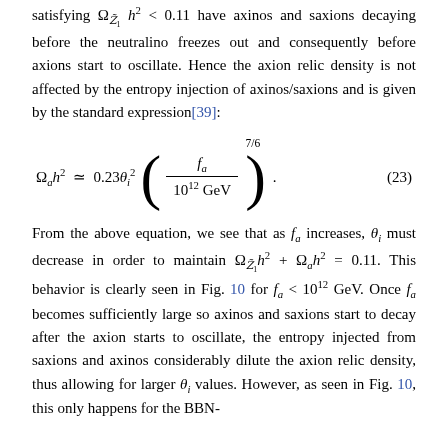satisfying Ω_{Z̃₁} h² < 0.11 have axinos and saxions decaying before the neutralino freezes out and consequently before axions start to oscillate. Hence the axion relic density is not affected by the entropy injection of axinos/saxions and is given by the standard expression[39]:
From the above equation, we see that as f_a increases, θ_i must decrease in order to maintain Ω_{Z̃₁} h² + Ω_a h² = 0.11. This behavior is clearly seen in Fig. 10 for f_a < 10¹² GeV. Once f_a becomes sufficiently large so axinos and saxions start to decay after the axion starts to oscillate, the entropy injected from saxions and axinos considerably dilute the axion relic density, thus allowing for larger θ_i values. However, as seen in Fig. 10, this only happens for the BBN-